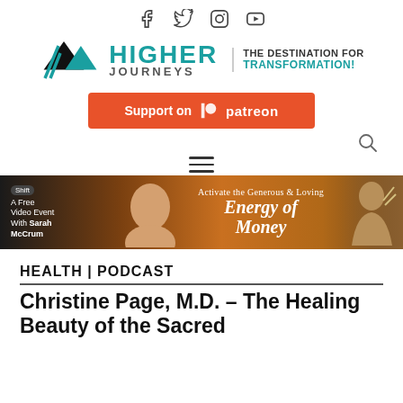[Figure (logo): Higher Journeys logo with tagline 'THE DESTINATION FOR TRANSFORMATION!' and social media icons (Facebook, Twitter, Instagram, YouTube)]
[Figure (logo): Support on Patreon button (orange background)]
[Figure (infographic): Advertisement banner for Shift Network: A Free Video Event with Sarah McCrum - Activate the Generous & Loving Energy of Money]
HEALTH | PODCAST
Christine Page, M.D. – The Healing Beauty of the Sacred...